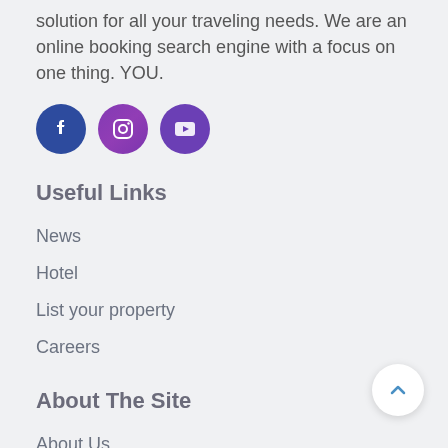solution for all your traveling needs. We are an online booking search engine with a focus on one thing. YOU.
[Figure (illustration): Three social media icon circles: Facebook (dark blue), Instagram (purple), YouTube (purple)]
Useful Links
News
Hotel
List your property
Careers
About The Site
About Us